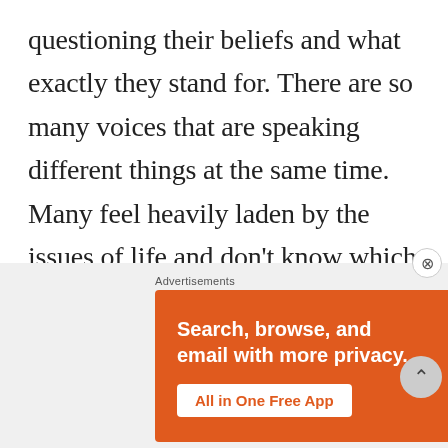questioning their beliefs and what exactly they stand for. There are so many voices that are speaking different things at the same time. Many feel heavily laden by the issues of life and don't know which way to go. They are going through so much confusion, doubt, and fear; they can't even perceive the peace of God. They
[Figure (screenshot): DuckDuckGo advertisement banner with orange background. Text reads: 'Search, browse, and email with more privacy. All in One Free App'. Shows a smartphone with DuckDuckGo logo. An 'Advertisements' label appears above the banner.]